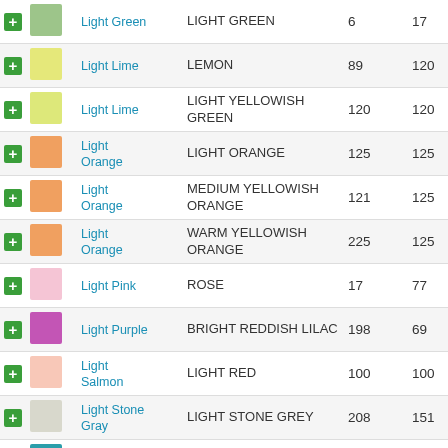|  | Color Swatch | Name | Label | N1 | N2 |
| --- | --- | --- | --- | --- | --- |
| + | Light Green swatch | Light Green | LIGHT GREEN | 6 | 17 |
| + | Light Lime swatch | Light Lime | LEMON | 89 | 120 |
| + | Light Lime swatch | Light Lime | LIGHT YELLOWISH GREEN | 120 | 120 |
| + | Light Orange swatch | Light Orange | LIGHT ORANGE | 125 | 125 |
| + | Light Orange swatch | Light Orange | MEDIUM YELLOWISH ORANGE | 121 | 125 |
| + | Light Orange swatch | Light Orange | WARM YELLOWISH ORANGE | 225 | 125 |
| + | Light Pink swatch | Light Pink | ROSE | 17 | 77 |
| + | Light Purple swatch | Light Purple | BRIGHT REDDISH LILAC | 198 | 69 |
| + | Light Salmon swatch | Light Salmon | LIGHT RED | 100 | 100 |
| + | Light Stone Gray swatch | Light Stone Gray | LIGHT STONE GREY | 208 | 151 |
| + | Light Turquoise swatch | Light Turquoise | MEDIUM BLUISH GREEN | 116 | 11 |